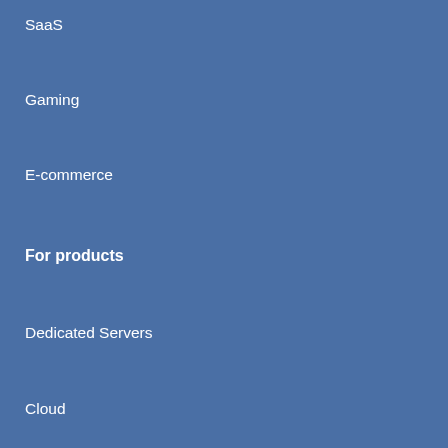SaaS
Gaming
E-commerce
For products
Dedicated Servers
Cloud
CDN
Cybersecurity
Web Hosting
Domain Names
Sign up for our newsletter
Stay up to date with the latest news about Leaseweb solutions, events, special offers and more by subscribing to our monthly